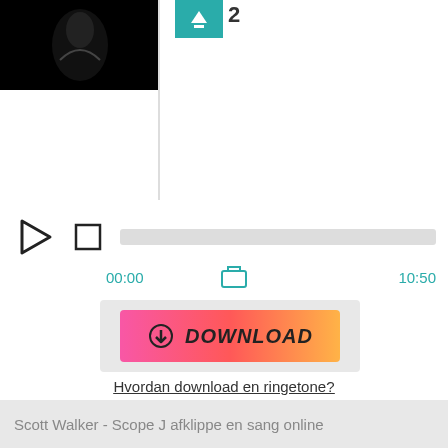[Figure (photo): Black and white album art thumbnail in top-left corner with a teal download/icon button and number 2 next to it]
[Figure (screenshot): Audio player controls with play triangle, stop square, grey progress bar showing 00:00 to 10:50 with a share icon in the middle]
[Figure (other): Download button with pink-to-orange gradient and download arrow icon with text DOWNLOAD]
Hvordan download en ringetone?
Scott Walker - Scope J afklippe en sang online